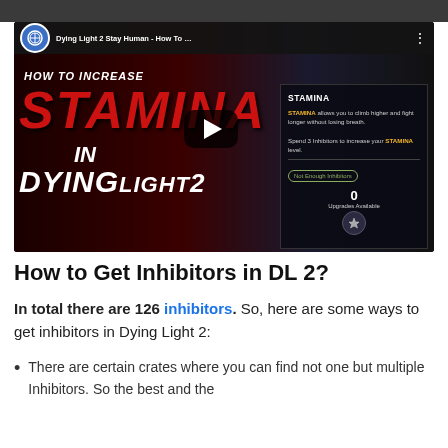[Figure (screenshot): YouTube video thumbnail for 'Dying Light 2 Stay Human - How To...' showing 'HOW TO INCREASE STAMINA IN DYING LIGHT 2' with a play button, game character, and in-game STAMINA upgrade UI panel]
How to Get Inhibitors in DL 2?
In total there are 126 inhibitors. So, here are some ways to get inhibitors in Dying Light 2:
There are certain crates where you can find not one but multiple Inhibitors. So the best and the